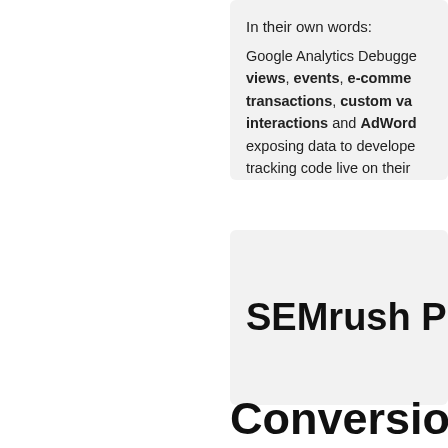In their own words:
Google Analytics Debugger views, events, e-commerce transactions, custom variables interactions and AdWords exposing data to developers tracking code live on their
SEMrush Plug
Conversion Ra